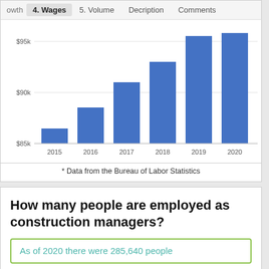owth  4. Wages  5. Volume  Decription  Comments
[Figure (bar-chart): Wages for Construction Managers (2015–2020)]
* Data from the Bureau of Labor Statistics
How many people are employed as construction managers?
As of 2020 there were 285,640 people